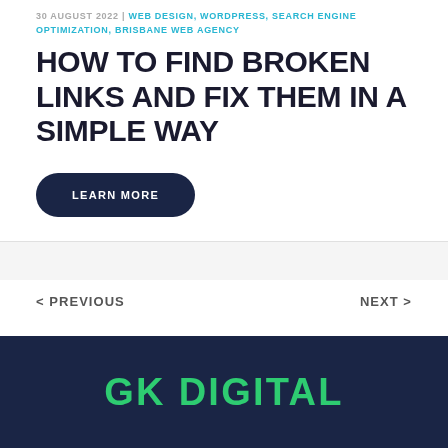30 AUGUST 2022 | WEB DESIGN, WORDPRESS, SEARCH ENGINE OPTIMIZATION, BRISBANE WEB AGENCY
HOW TO FIND BROKEN LINKS AND FIX THEM IN A SIMPLE WAY
LEARN MORE
< PREVIOUS
NEXT >
GK DIGITAL